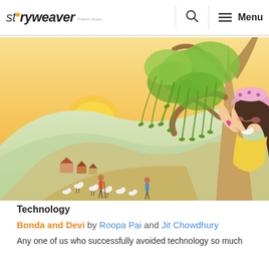StoryWeaver — Menu
[Figure (illustration): A colorful children's book illustration showing a girl hugging a tree with drooping green leaves. In the background is a sunset over hills with a village scene — small houses, goats, and shepherds walking on a path.]
Technology
Bonda and Devi by Roopa Pai and Jit Chowdhury
Any one of us who successfully avoided technology so much